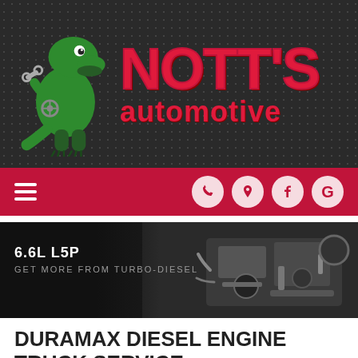[Figure (logo): Nott's Automotive logo banner with green T-Rex dinosaur mascot holding a wrench, red NOTT'S text and automotive text on dark textured background]
[Figure (screenshot): Red navigation bar with hamburger menu on left and four white circle icons (phone, location, Facebook, Google) on right]
[Figure (photo): Dark banner showing 6.6L L5P engine with text 'GET MORE FROM TURBO-DIESEL' and photo of a diesel engine on the right]
DURAMAX DIESEL ENGINE TRUCK SERVICE
Our Sarasota drivers depend on their diesel trucks and the Duramax diesel in their Chevy or GMC pickup and our diesel technicians keep them running at peak performance by making sure we have their